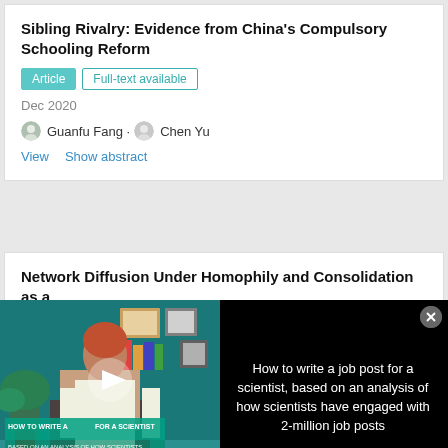Sibling Rivalry: Evidence from China's Compulsory Schooling Reform
Article | Full-text available
Dec 2020
Guanfu Fang · Chen Yu
View   Show abstract
Network Diffusion Under Homophily and Consolidation as a
[Figure (screenshot): Video overlay showing a woman at a desk with text 'HOW TO WRITE A JOB POST FOR A SCIENTIST' and a play button, with adjacent black panel reading 'How to write a job post for a scientist, based on an analysis of how scientists have engaged with 2-million job posts' and a close button]
View   Show abstract
Enrolling at University and the Social Influence of Peers
Article | Full-text available